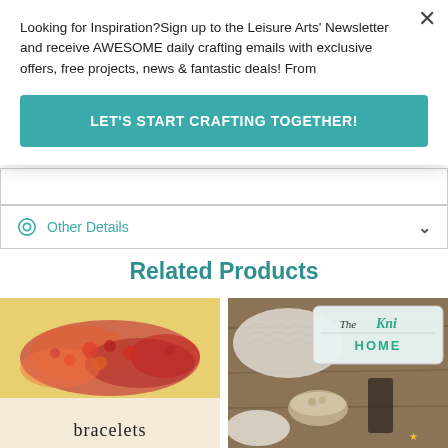Looking for Inspiration?Sign up to the Leisure Arts' Newsletter and receive AWESOME daily crafting emails with exclusive offers, free projects, news & fantastic deals! From
LET'S START CRAFTING TOGETHER!
Other Details
Related Products
[Figure (photo): Close-up photo of colorful beaded bracelets on a yellow/cream surface, with the word 'bracelets' in black text at the bottom]
[Figure (photo): Partial view of a knitting book cover titled 'The Kni HOME' with cozy home items]